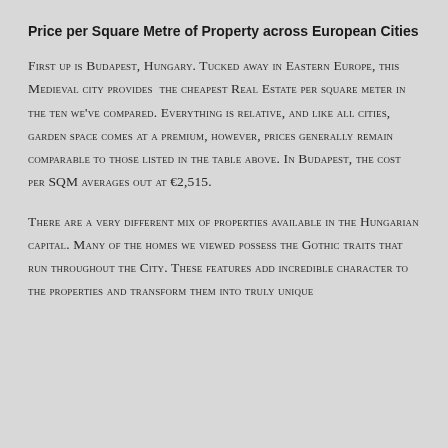Price per Square Metre of Property across European Cities
First up is Budapest, Hungary. Tucked away in Eastern Europe, this Medieval city provides the cheapest Real Estate per square meter in the ten we've compared. Everything is relative, and like all cities, garden space comes at a premium, however, prices generally remain comparable to those listed in the table above. In Budapest, the cost per SQM averages out at €2,515.
There are a very different mix of properties available in the Hungarian capital. Many of the homes we viewed possess the Gothic traits that run throughout the City. These features add incredible character to the properties and transform them into truly unique